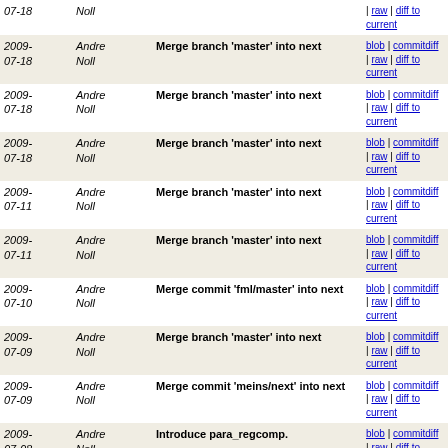| Date | Author | Commit Message | Links |
| --- | --- | --- | --- |
| 2009-07-18 | Andre Noll | Merge branch 'master' into next | blob | commitdiff | raw | diff to current |
| 2009-07-18 | Andre Noll | Merge branch 'master' into next | blob | commitdiff | raw | diff to current |
| 2009-07-18 | Andre Noll | Merge branch 'master' into next | blob | commitdiff | raw | diff to current |
| 2009-07-11 | Andre Noll | Merge branch 'master' into next | blob | commitdiff | raw | diff to current |
| 2009-07-11 | Andre Noll | Merge branch 'master' into next | blob | commitdiff | raw | diff to current |
| 2009-07-10 | Andre Noll | Merge commit 'fml/master' into next | blob | commitdiff | raw | diff to current |
| 2009-07-09 | Andre Noll | Merge branch 'master' into next | blob | commitdiff | raw | diff to current |
| 2009-07-09 | Andre Noll | Merge commit 'meins/next' into next | blob | commitdiff | raw | diff to current |
| 2009-07-08 | Andre Noll | Introduce para_regcomp. | blob | commitdiff | raw | diff to current |
| 2009-07-05 | Andre Noll | Merge branch 'master' into next | blob | commitdiff | raw | diff to current |
| 2009-07-04 | Andre Noll | Merge branch 'master' into next | blob | commitdiff | raw | diff to current |
| 2009-07-04 | Andre Noll | Merge branch 'afh_cleanup' into next. | blob | commitdiff | raw | diff to current |
| 2009-06-26 | Andre Noll | Major audio format handler cleanups | blob | commitdiff | raw | diff to |